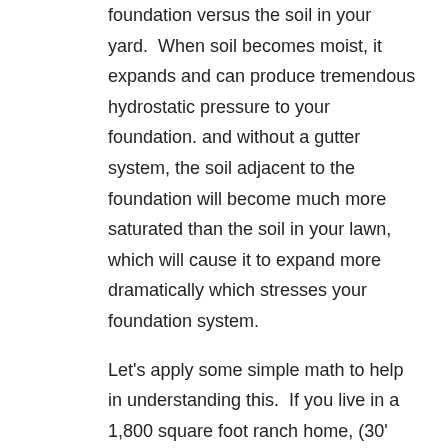foundation versus the soil in your yard.  When soil becomes moist, it expands and can produce tremendous hydrostatic pressure to your foundation. and without a gutter system, the soil adjacent to the foundation will become much more saturated than the soil in your lawn, which will cause it to expand more dramatically which stresses your foundation system.
Let's apply some simple math to help in understanding this.  If you live in a 1,800 square foot ranch home, (30' wide x 60' long) that has a typical gable style roof, you would ideally have two set of gutters – one on each side, (60' eave) of the house.  Without these gutters, each eave would